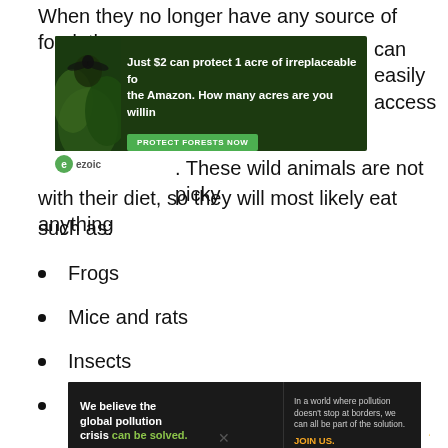When they no longer have any source of food, they will venture into areas where they can easily access food and water. These wild animals are not picky with their diet, so they will most likely eat anything such as:
[Figure (infographic): Green advertisement banner: 'Just $2 can protect 1 acre of irreplaceable forest in the Amazon. How many acres are you willing to protect?' with a 'Protect Forests Now' button and rainforest imagery.]
Frogs
Mice and rats
Insects
Snails
[Figure (infographic): Pure Earth advertisement: 'We believe the global pollution crisis can be solved. In a world where pollution doesn't stop at borders, we can all be part of the solution. JOIN US.' with Pure Earth logo.]